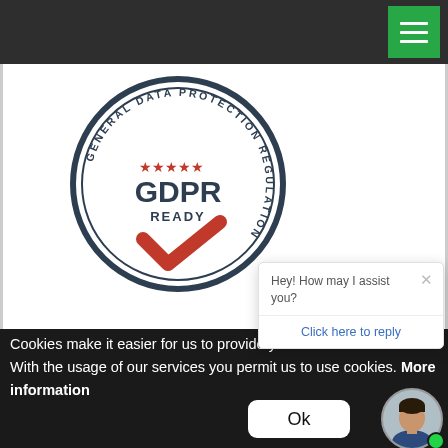[Figure (screenshot): Dark navigation bar with green hamburger menu button on the right]
[Figure (logo): GDPR Ready circular badge/seal with text 'GENERAL DATA PROTECTION REGULATION' around the border, five red stars, bold text 'GDPR READY', and a red checkmark]
[Figure (screenshot): Chat popup overlay with close X button, message 'Hey! How may I assist you?' and a 'Click here to reply' link]
Cookies make it easier for us to provide you with our services. With the usage of our services you permit us to use cookies. More information
[Figure (screenshot): Ok button (white rounded rectangle) and a circular avatar photo of a man in a suit with a green online indicator dot]